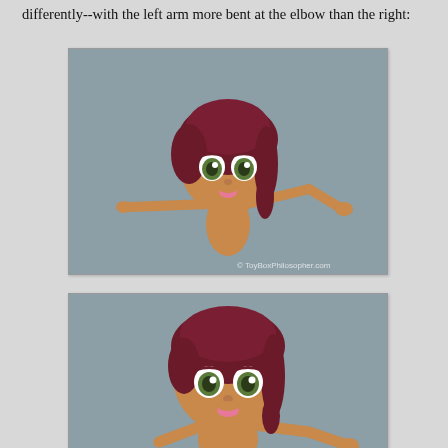differently--with the left arm more bent at the elbow than the right:
[Figure (photo): A toy doll with dark red braided hair, large stylized eyes, brown skin, both arms outstretched to the sides with elbows slightly bent. Gray background. Watermark: © ToyBoxPhilosopher.com]
[Figure (photo): The same toy doll photographed from a closer angle, showing the upper body and face more prominently, with one arm visible outstretched to the right. Gray background.]